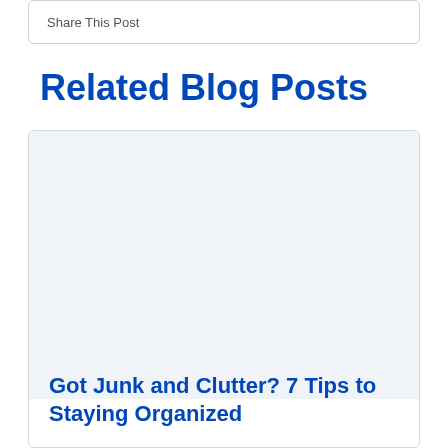Share This Post
Related Blog Posts
[Figure (illustration): White rectangular image placeholder area inside a blog post card]
Got Junk and Clutter? 7 Tips to Staying Organized